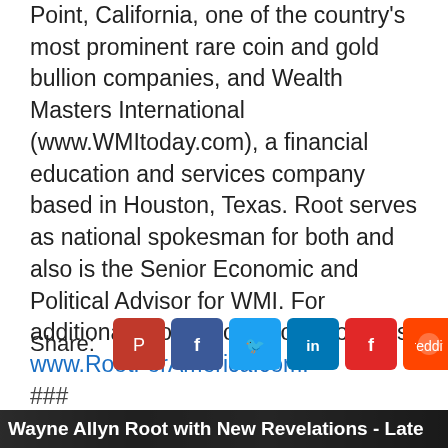Point, California, one of the country's most prominent rare coin and gold bullion companies, and Wealth Masters International (www.WMItoday.com), a financial education and services company based in Houston, Texas. Root serves as national spokesman for both and also is the Senior Economic and Political Advisor for WMI. For additional information about Root, visit www.RootForAmerica.com.
###
Share:
[Figure (screenshot): Social media share buttons: Parler (red), Facebook (blue), Twitter (light blue), LinkedIn (dark blue), Flipboard (red), Reddit (orange), WhatsApp (green), Email (purple)]
[Figure (photo): Thumbnail image at bottom of page with text overlay: Wayne Allyn Root with New Revelations - Late]